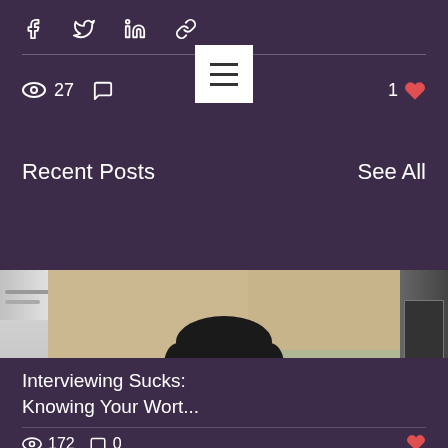Share icons: Facebook, Twitter, LinkedIn, Link
27 views, 0 comments, 1 like
Recent Posts   See All
[Figure (photo): Portrait photo of a smiling man with short dark hair and beard, wearing a dark blazer over a light shirt, against a beige/green background. Partial images of other blog post thumbnails appear on left and right sides.]
Interviewing Sucks: Knowing Your Wort...
172 views, 0 comments, heart icon